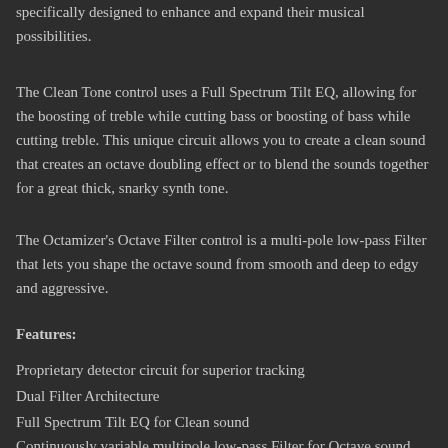specifically designed to enhance and expand their musical possibilities.
The Clean Tone control uses a Full Spectrum Tilt EQ, allowing for the boosting of treble while cutting bass or boosting of bass while cutting treble. This unique circuit allows you to create a clean sound that creates an octave doubling effect or to blend the sounds together for a great thick, snarky synth tone.
The Octamizer's Octave Filter control is a multi-pole low-pass Filter that lets you shape the octave sound from smooth and deep to edgy and aggressive.
Features:
Proprietary detector circuit for superior tracking
Dual Filter Architecture
Full Spectrum Tilt EQ for Clean sound
Continuously variable multipole low-pass Filter for Octave sound